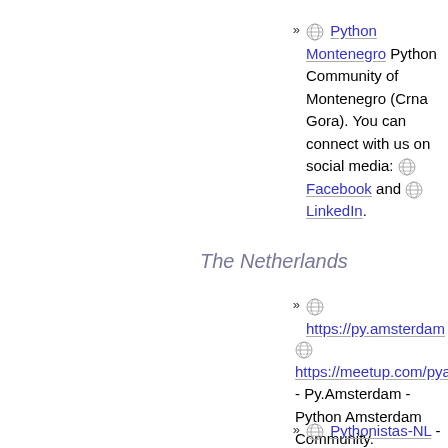Python Montenegro Python Community of Montenegro (Crna Gora). You can connect with us on social media: Facebook and LinkedIn.
The Netherlands
https://py.amsterdam
https://meetup.com/pyams - Py.Amsterdam - Python Amsterdam Community.
Pythonistas-NL -